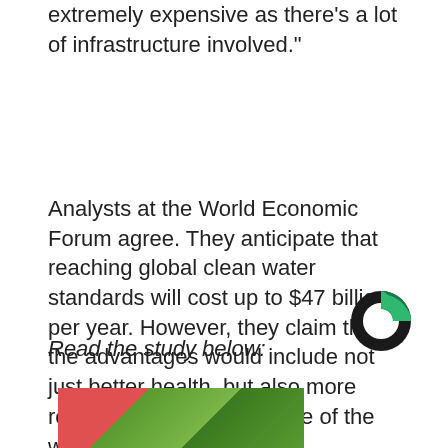extremely expensive as there’s a lot of infrastructure involved.”
Analysts at the World Economic Forum agree. They anticipate that reaching global clean water standards will cost up to $47 billion per year. However, they claim that the advantages would include not just better health, but also more robust economies for some of the world’s poorest people.
Read the study below:
[Figure (logo): Circular logo with dark and green portions]
[Figure (photo): Partial photo showing a hand and green foliage]